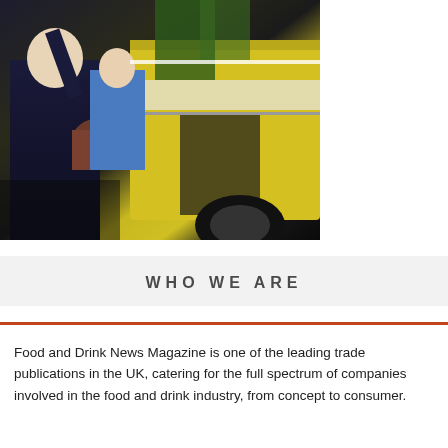[Figure (photo): People at a food truck, someone holding a pot near a yellow van]
WHO WE ARE
Food and Drink News Magazine is one of the leading trade publications in the UK, catering for the full spectrum of companies involved in the food and drink industry, from concept to consumer.